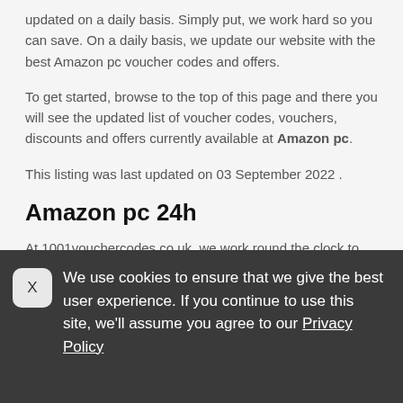updated on a daily basis. Simply put, we work hard so you can save. On a daily basis, we update our website with the best Amazon pc voucher codes and offers.
To get started, browse to the top of this page and there you will see the updated list of voucher codes, vouchers, discounts and offers currently available at Amazon pc.
This listing was last updated on 03 September 2022 .
Amazon pc 24h
At 1001vouchercodes.co.uk, we work round the clock to
We use cookies to ensure that we give the best user experience. If you continue to use this site, we'll assume you agree to our Privacy Policy